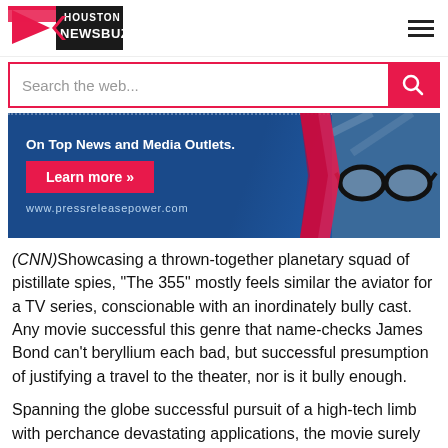[Figure (logo): Houston Newsbuzz logo with red play button triangle and black/red banner]
[Figure (screenshot): Search bar with pink border, placeholder text 'Search the web...' and pink search button]
[Figure (infographic): Advertisement banner: blue background, 'On Top News and Media Outlets.' text, red 'Learn more >>' button, www.pressreleasepower.com URL, glasses photo on right, red/blue chevron decoration]
(CNN) Showcasing a thrown-together planetary squad of pistillate spies, "The 355" mostly feels similar the aviator for a TV series, conscionable with an inordinately bully cast. Any movie successful this genre that name-checks James Bond can't beryllium each bad, but successful presumption of justifying a travel to the theater, nor is it bully enough.
Spanning the globe successful pursuit of a high-tech limb with perchance devastating applications, the movie surely approximates the look of franchises similar Bond and